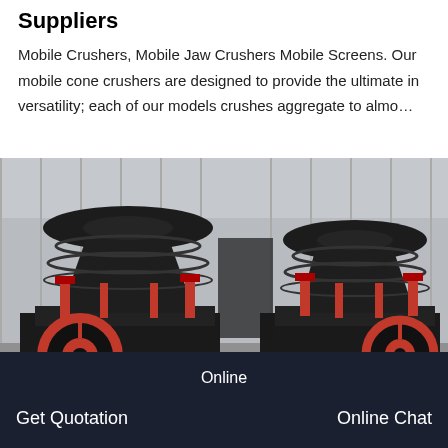Suppliers
Mobile Crushers, Mobile Jaw Crushers Mobile Screens. Our mobile cone crushers are designed to provide the ultimate in versatility; each of our models crushes aggregate to almo…
[Figure (photo): Two large black and red cone crusher machines parked inside an industrial warehouse/factory. The machines have prominent red flywheel discs and red hydraulic components on black steel frames.]
Online
Get Quotation
Online Chat